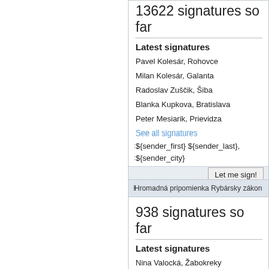13622 signatures so far
Latest signatures
Pavel Kolesár, Rohovce
Milan Kolesár, Galanta
Radoslav Zuščik, Šiba
Blanka Kupkova, Bratislava
Peter Mesiarik, Prievidza
See all signatures
${sender_first} ${sender_last}, ${sender_city}
Hromadná pripomienka Rybársky zákon
938 signatures so far
Latest signatures
Nina Valocká, Žabokreky
Ján Baranovský, Dulova Ves - Vlčie Doly
Vladimír Kocurek, Košice